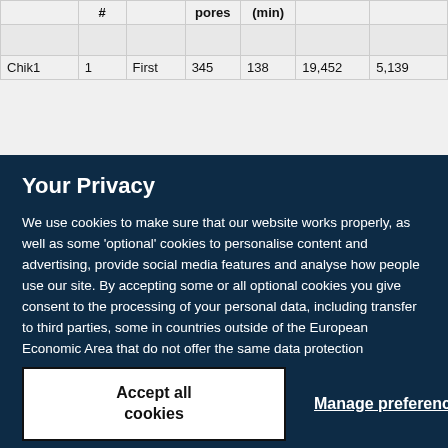|  | # |  | pores | (min) |  |  |
| --- | --- | --- | --- | --- | --- | --- |
| Chik1 | 1 | First | 345 | 138 | 19,452 | 5,139 |
Your Privacy
We use cookies to make sure that our website works properly, as well as some 'optional' cookies to personalise content and advertising, provide social media features and analyse how people use our site. By accepting some or all optional cookies you give consent to the processing of your personal data, including transfer to third parties, some in countries outside of the European Economic Area that do not offer the same data protection standards as the country where you live. You can decide which optional cookies to accept by clicking on 'Manage Settings', where you can also find more information about how your personal data is processed. Further information can be found in our privacy policy.
Accept all cookies
Manage preferences